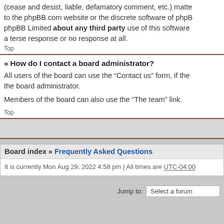(cease and desist, liable, defamatory comment, etc.) matters related to the phpBB.com website or the discrete software of phpBB Limited about any third party use of this software a terse response or no response at all.
Top
» How do I contact a board administrator?
All users of the board can use the “Contact us” form, if the board administrator.
Members of the board can also use the “The team” link.
Top
Board index » Frequently Asked Questions
It is currently Mon Aug 29, 2022 4:58 pm | All times are UTC-04:00
Jump to:  Select a forum